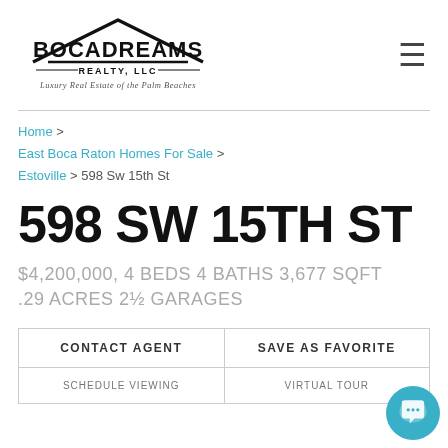[Figure (logo): Boca Dreams Realty LLC logo with house roofline graphic and tagline 'Luxury Real Estate of the Palm Beaches']
Home > East Boca Raton Homes For Sale > Estoville > 598 Sw 15th St
598 SW 15TH ST
$4,200,000, 4 BEDS 4 BATHS 3,677 SQFT .29 ACRES 2½ GARAGES
| CONTACT AGENT | SAVE AS FAVORITE |
| --- | --- |
| SCHEDULE VIEWING | VIRTUAL TOUR |